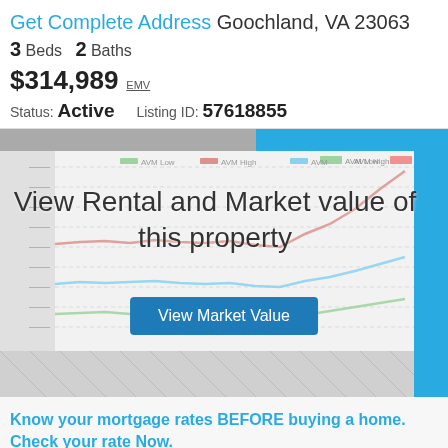Get Complete Address Goochland, VA 23063
3 Beds  2 Baths
$314,989 EMV
Status: Active   Listing ID: 57618855
[Figure (line-chart): AVM chart showing AVM Low (green), AVM High (red), and AVM (blue) trend lines over time, blurred with overlay text 'View Rental and Market value of this property' and a 'View Market Value' button]
Know your mortgage rates BEFORE buying a home. Check your rate Now.